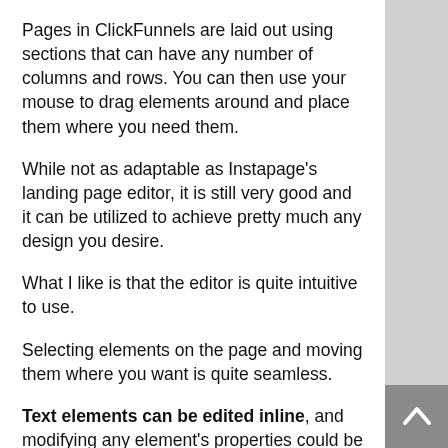Pages in ClickFunnels are laid out using sections that can have any number of columns and rows. You can then use your mouse to drag elements around and place them where you need them.
While not as adaptable as Instapage's landing page editor, it is still very good and it can be utilized to achieve pretty much any design you desire.
What I like is that the editor is quite intuitive to use.
Selecting elements on the page and moving them where you want is quite seamless.
Text elements can be edited inline, and modifying any element's properties could be accomplished via the fly-out sidebar.